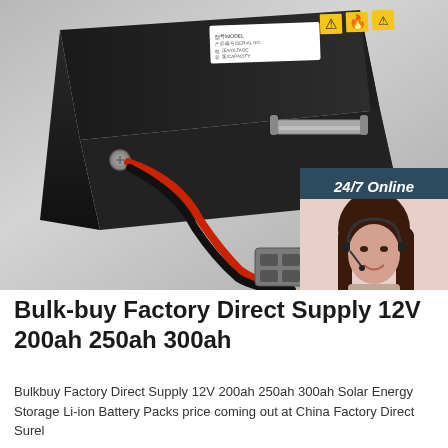[Figure (photo): A black lithium-ion battery pack with red and black cables and a grey connector plug, photographed on a white surface. Yellow warning labels are visible on top of the battery. A customer service chat widget overlay appears in the bottom-right corner of the image with a smiling woman wearing a headset, text '24/7 Online', 'Click here for free chat !', and an orange 'QUOTATION' button.]
Bulk-buy Factory Direct Supply 12V 200ah 250ah 300ah
Bulkbuy Factory Direct Supply 12V 200ah 250ah 300ah Solar Energy Storage Li-ion Battery Packs price coming out at China Factory Direct Surel